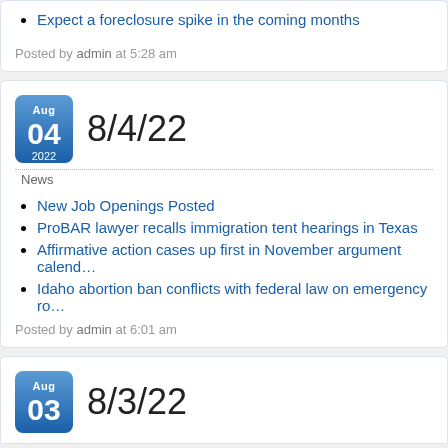Expect a foreclosure spike in the coming months
Posted by admin at 5:28 am
8/4/22
News
New Job Openings Posted
ProBAR lawyer recalls immigration tent hearings in Texas
Affirmative action cases up first in November argument calend…
Idaho abortion ban conflicts with federal law on emergency ro…
Posted by admin at 6:01 am
8/3/22